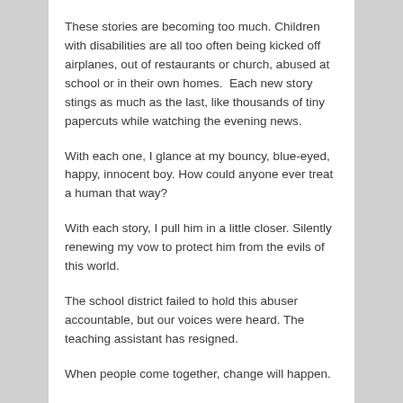These stories are becoming too much. Children with disabilities are all too often being kicked off airplanes, out of restaurants or church, abused at school or in their own homes.  Each new story stings as much as the last, like thousands of tiny papercuts while watching the evening news.
With each one, I glance at my bouncy, blue-eyed, happy, innocent boy. How could anyone ever treat a human that way?
With each story, I pull him in a little closer. Silently renewing my vow to protect him from the evils of this world.
The school district failed to hold this abuser accountable, but our voices were heard. The teaching assistant has resigned.
When people come together, change will happen.